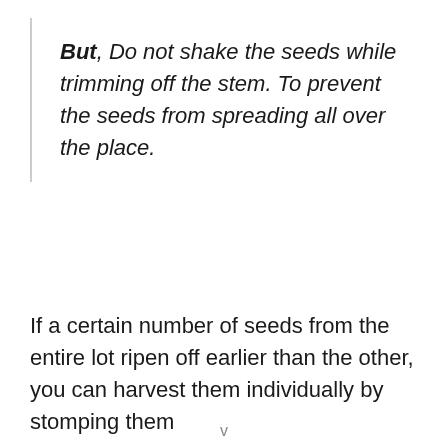But, Do not shake the seeds while trimming off the stem. To prevent the seeds from spreading all over the place.
If a certain number of seeds from the entire lot ripen off earlier than the other, you can harvest them individually by stomping them